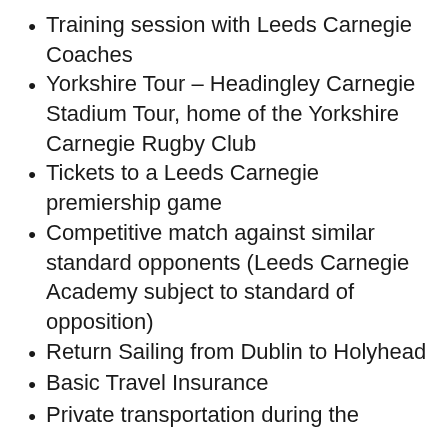Training session with Leeds Carnegie Coaches
Yorkshire Tour – Headingley Carnegie Stadium Tour, home of the Yorkshire Carnegie Rugby Club
Tickets to a Leeds Carnegie premiership game
Competitive match against similar standard opponents (Leeds Carnegie Academy subject to standard of opposition)
Return Sailing from Dublin to Holyhead
Basic Travel Insurance
Private transportation during the